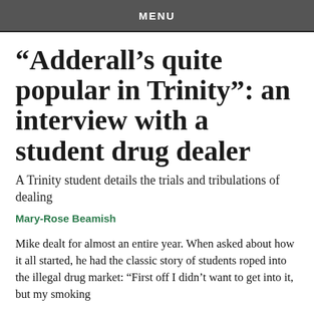MENU
“Adderall’s quite popular in Trinity”: an interview with a student drug dealer
A Trinity student details the trials and tribulations of dealing
Mary-Rose Beamish
Mike dealt for almost an entire year. When asked about how it all started, he had the classic story of students roped into the illegal drug market: “First off I didn’t want to get into it, but my smoking